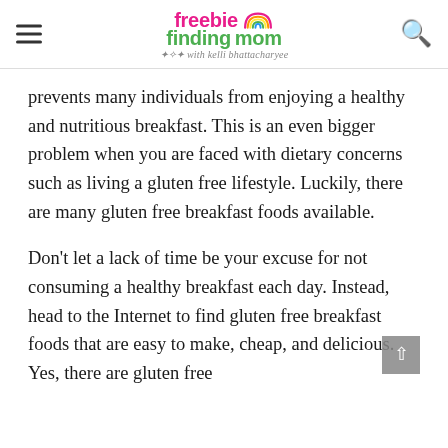freebie finding mom — with kelli bhattacharyee
prevents many individuals from enjoying a healthy and nutritious breakfast. This is an even bigger problem when you are faced with dietary concerns such as living a gluten free lifestyle. Luckily, there are many gluten free breakfast foods available.
Don't let a lack of time be your excuse for not consuming a healthy breakfast each day. Instead, head to the Internet to find gluten free breakfast foods that are easy to make, cheap, and delicious. Yes, there are gluten free